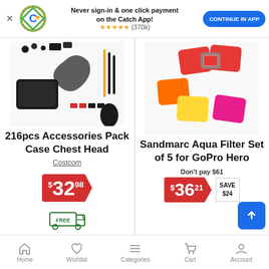[Figure (screenshot): Catch app promotional banner with logo, text, star rating, and continue button]
[Figure (photo): 216pcs GoPro accessories pack including case, chest harness, head mount, and various accessories]
216pcs Accessories Pack Case Chest Head
Costcom
$32.98
[Figure (photo): Sandmarc Aqua Filter Set of 5 colored lens filters for GoPro Hero in red, orange, yellow, pink colors]
Sandmarc Aqua Filter Set of 5 for GoPro Hero
Don't pay $61
$36.21 SAVE $24
Home  Wishlist  Categories  Cart  Account